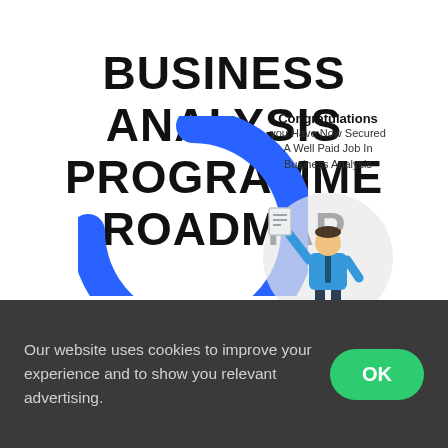BUSINESS ANALYSIS PROGRAMME ROADMAP
[Figure (illustration): A large blue partial ring/donut arc on the lower left portion of the page, partially cut off at the bottom.]
[Figure (illustration): A circular illustration showing a person in business attire holding a document above their head in celebration, set against a light grey circle background. Above the circle is a text box reading: Congratulations you Have Now Secured A Well Paid Job In Business Analysis]
Congratulations you Have Now Secured A Well Paid Job In Business Analysis
Our website uses cookies to improve your experience and to show you relevant advertising.